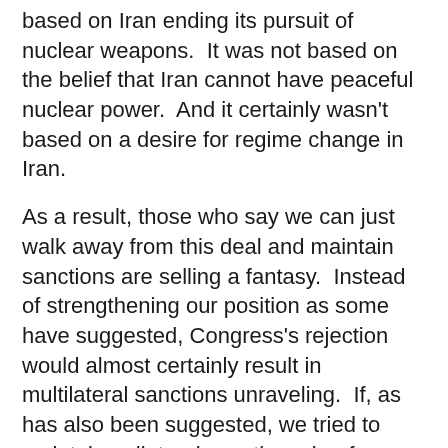based on Iran ending its pursuit of nuclear weapons.  It was not based on the belief that Iran cannot have peaceful nuclear power.  And it certainly wasn't based on a desire for regime change in Iran.
As a result, those who say we can just walk away from this deal and maintain sanctions are selling a fantasy.  Instead of strengthening our position as some have suggested, Congress's rejection would almost certainly result in multilateral sanctions unraveling.  If, as has also been suggested, we tried to maintain unilateral sanctions, beefen them up, we would be standing alone.  We cannot dictate the foreign, economic and energy policies of every major power in the world.
In order to even try to do that, we would have to sanction, for example, some of the world's largest banks.  We'd have to cut off countries like China from the American financial system.  And since they happen to be major purchasers of or our debt, such actions could trigger severe disruptions